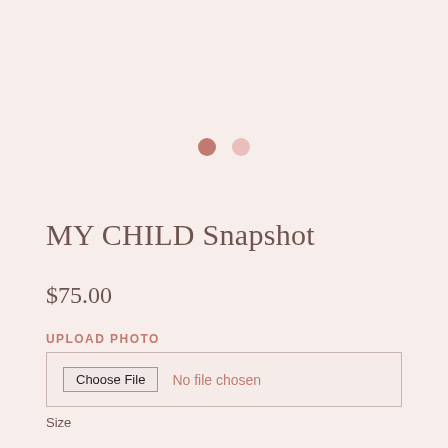[Figure (other): Two pagination dots — one filled dark pink and one lighter pink — indicating a carousel/slideshow position indicator]
MY CHILD Snapshot
$75.00
UPLOAD PHOTO
Choose File No file chosen
Size
A4 A3 A2
Polaroid Caption (optional) (+$0.00)